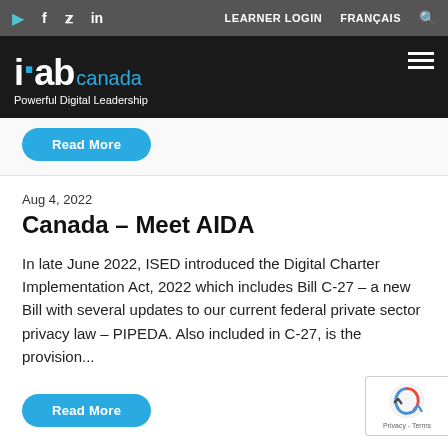IAB Canada – Powerful Digital Leadership | LEARNER LOGIN | FRANÇAIS
[Figure (logo): IAB Canada logo with tagline 'Powerful Digital Leadership' on dark background with hamburger menu icon]
Read More
Aug 4, 2022
Canada – Meet AIDA
In late June 2022, ISED introduced the Digital Charter Implementation Act, 2022 which includes Bill C-27 – a new Bill with several updates to our current federal private sector privacy law – PIPEDA. Also included in C-27, is the provision...
Read More